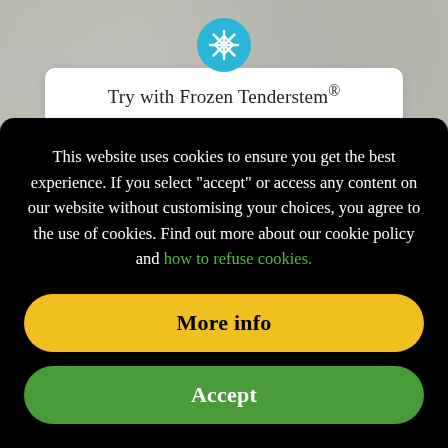[Figure (illustration): Snowflake icon in a teal/blue circle above a white card]
Try with Frozen Tenderstem®
This website uses cookies to ensure you get the best experience. If you select "accept" or access any content on our website without customising your choices, you agree to the use of cookies. Find out more about our cookie policy and how to refuse cookies.
More info
Accept